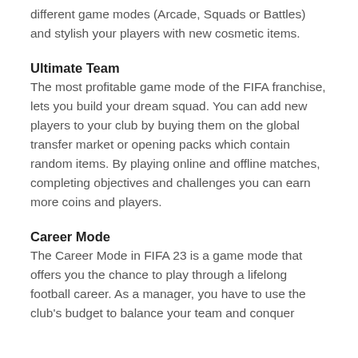different game modes (Arcade, Squads or Battles) and stylish your players with new cosmetic items.
Ultimate Team
The most profitable game mode of the FIFA franchise, lets you build your dream squad. You can add new players to your club by buying them on the global transfer market or opening packs which contain random items. By playing online and offline matches, completing objectives and challenges you can earn more coins and players.
Career Mode
The Career Mode in FIFA 23 is a game mode that offers you the chance to play through a lifelong football career. As a manager, you have to use the club's budget to balance your team and conquer